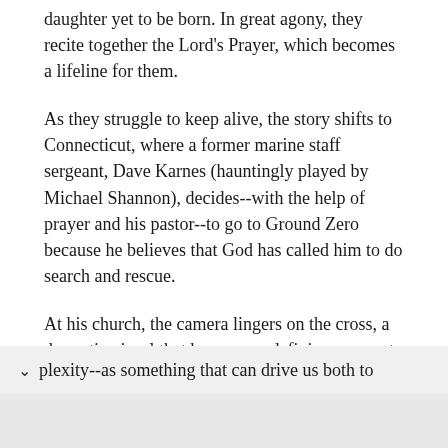daughter yet to be born. In great agony, they recite together the Lord's Prayer, which becomes a lifeline for them.
As they struggle to keep alive, the story shifts to Connecticut, where a former marine staff sergeant, Dave Karnes (hauntingly played by Michael Shannon), decides--with the help of prayer and his pastor--to go to Ground Zero because he believes that God has called him to do search and rescue.
At his church, the camera lingers on the cross, a dramatic visual that becomes a defining moment in the film. Stone, however, avoids a simplistic portrayal of faith, instead showing religion in all its plexity--as something that can drive us both to